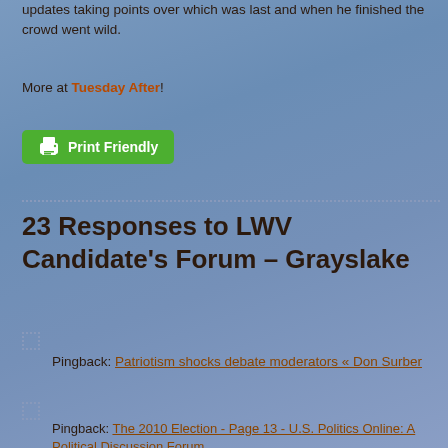updates taking points over which was last and when he finished the crowd went wild.
More at Tuesday After!
[Figure (other): Print Friendly green button with printer icon]
23 Responses to LWV Candidate's Forum – Grayslake
Pingback: Patriotism shocks debate moderators « Don Surber
Pingback: The 2010 Election - Page 13 - U.S. Politics Online: A Political Discussion Forum
Pingback: The 2010 election cycle, crystallized. | RedState